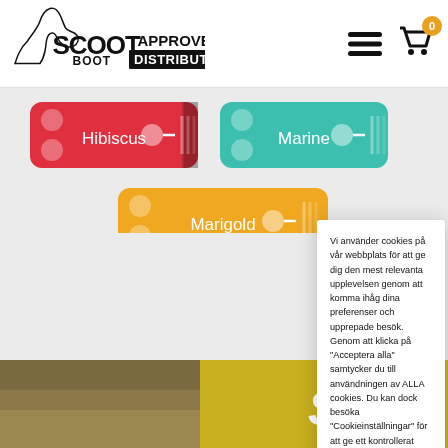[Figure (logo): ScootBoot Approved Distributor logo with horse silhouette]
[Figure (illustration): Hibiscus red color option button for horse boot]
[Figure (illustration): Marine teal color option button for horse boot]
[Figure (illustration): Marigold yellow color option button for horse boot (partially visible)]
Vi använder cookies på vår webbplats för att ge dig den mest relevanta upplevelsen genom att komma ihåg dina preferenser och upprepade besök. Genom att klicka på "Acceptera alla" samtycker du till användningen av ALLA cookies. Du kan dock besöka "Cookieinställningar" för att ge ett kontrollerat samtycke.
Cookie Settings
Acceptera allt
[Figure (photo): Bottom strip showing grass/field and yellow product image]